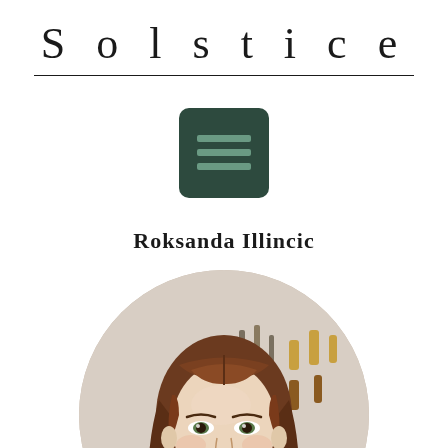Solstice
[Figure (logo): Dark green square icon with three horizontal menu lines in lighter green]
Roksanda Illincic
[Figure (photo): Circular portrait photo of Roksanda Illincic, a woman with long brown hair, red lips, wearing a colorful pink, yellow and dark patterned top, photographed in a light studio setting]